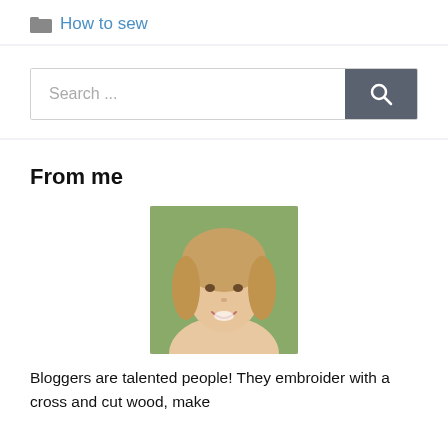How to sew
[Figure (screenshot): Search bar with text 'Search ...' and a dark grey search button with magnifying glass icon]
From me
[Figure (photo): Portrait photo of a smiling young woman with blonde hair, outdoor background]
Bloggers are talented people! They embroider with a cross and cut wood, make